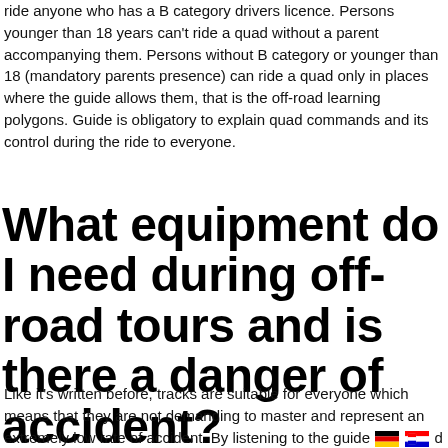ride anyone who has a B category drivers licence. Persons younger than 18 years can't ride a quad without a parent accompanying them. Persons without B category or younger than 18 (mandatory parents presence) can ride a quad only in places where the guide allows them, that is the off-road learning polygons. Guide is obligatory to explain quad commands and its control during the ride to everyone.
What equipment do I need during off-road tours and is there a danger of accident?
Like it's written before, tracks are suitable for everyone which means that they are not demanding to master and represent an extremely low rate of accident. By listening to the guide and adhering to the rules that the guide is obliged to say and explain